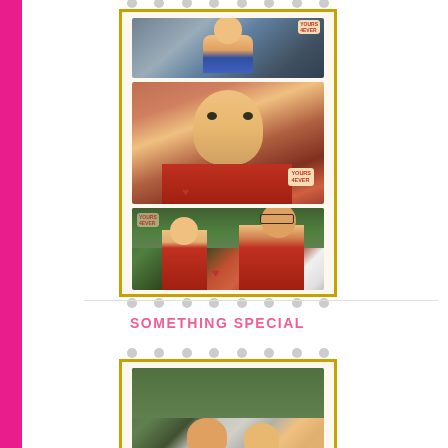[Figure (photo): A stamp-style photo collage frame with gold border and gray perforation dots. Contains three stacked photos: top photo shows a baby in blue/patterned clothing, middle photo shows a close-up of a baby's face with a 'YOURS 4EVER' heart badge, bottom photo shows a toddler in red with an adult man wearing glasses in an outdoor setting. 'YOURS 4EVER' labels visible on photos.]
SOMETHING SPECIAL
[Figure (photo): Bottom stamp-style photo frame with gold border, partially visible, showing the top portion of another photo collage with an outdoor scene.]